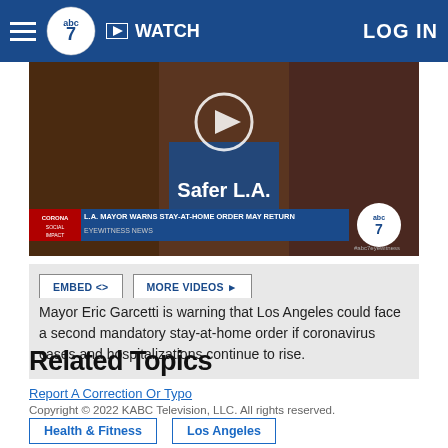abc7 WATCH LOG IN
[Figure (screenshot): Video thumbnail showing a press conference with 'Safer L.A.' sign and lower-third chyron reading 'L.A. MAYOR WARNS STAY-AT-HOME ORDER MAY RETURN / EYEWITNESS NEWS' with abc7 logo]
EMBED <> MORE VIDEOS ▶
Mayor Eric Garcetti is warning that Los Angeles could face a second mandatory stay-at-home order if coronavirus cases and hospitalizations continue to rise.
Report A Correction Or Typo
Copyright © 2022 KABC Television, LLC. All rights reserved.
Related Topics
Health & Fitness
Los Angeles